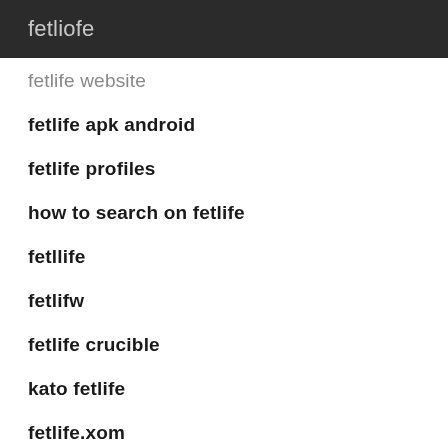fetliofe
fetlife website
fetlife apk android
fetlife profiles
how to search on fetlife
fetllife
fetlifw
fetlife crucible
kato fetlife
fetlife.xom
fetlife profile search
fetlife android app